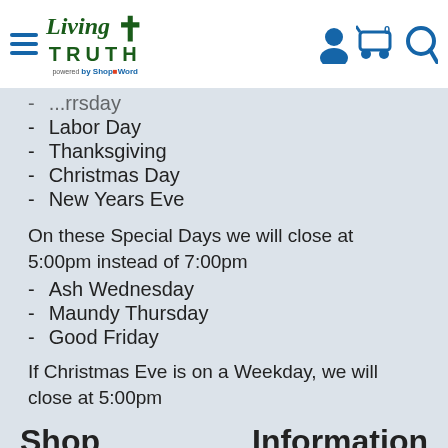Living Truth (logo) — powered by ShopTheWord
- (partial) ...rrsday
- Labor Day
- Thanksgiving
- Christmas Day
- New Years Eve
On these Special Days we will close at 5:00pm instead of 7:00pm
- Ash Wednesday
- Maundy Thursday
- Good Friday
If Christmas Eve is on a Weekday, we will close at 5:00pm
Shop        Information